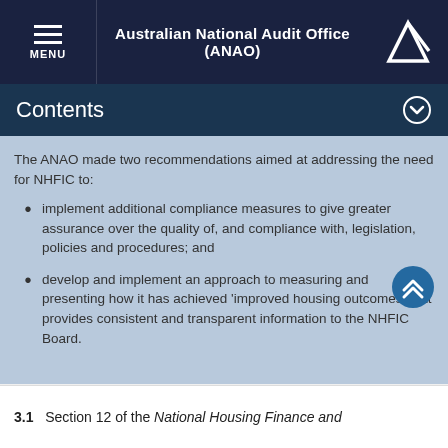Australian National Audit Office (ANAO)
Contents
The ANAO made two recommendations aimed at addressing the need for NHFIC to:
implement additional compliance measures to give greater assurance over the quality of, and compliance with, legislation, policies and procedures; and
develop and implement an approach to measuring and presenting how it has achieved 'improved housing outcomes' that provides consistent and transparent information to the NHFIC Board.
3.1  Section 12 of the National Housing Finance and